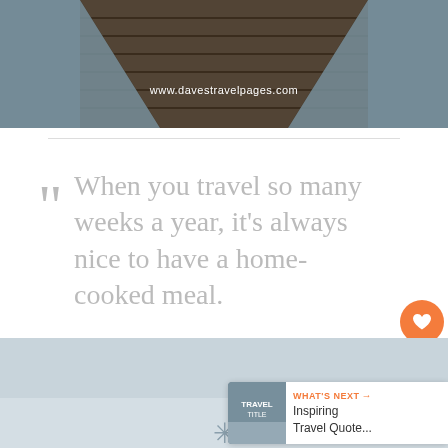[Figure (photo): Wooden dock/pier over water, viewed from above at an angle, with muted teal water on sides]
www.davestravelpages.com
“ When you travel so many weeks a year, it's always nice to have a home-cooked meal.
– Maria Sharapova
5
[Figure (photo): Bottom partial photo showing a beach/coastal scene with a snowflake-like symbol overlay]
WHAT'S NEXT → Inspiring Travel Quote...